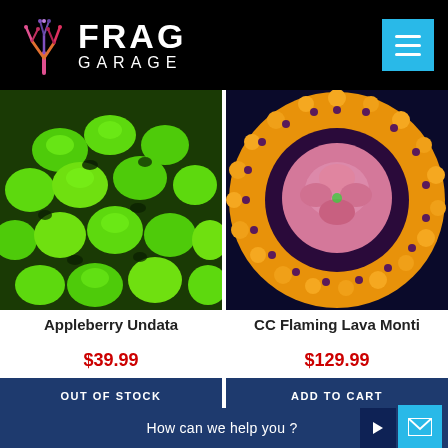FRAG GARAGE
[Figure (photo): Close-up photo of bright green Appleberry Undata coral with bulbous lobes]
[Figure (photo): Close-up photo of CC Flaming Lava Monti coral with orange/yellow bumpy texture and pink center]
Appleberry Undata
CC Flaming Lava Monti
$39.99
$129.99
OUT OF STOCK
ADD TO CART
How can we help you ?